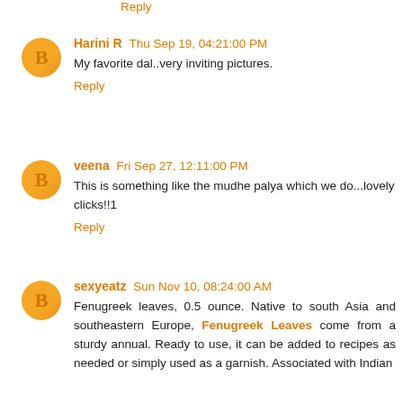Look so yamm and healthy meal.
Reply
Harini R  Thu Sep 19, 04:21:00 PM
My favorite dal..very inviting pictures.
Reply
veena  Fri Sep 27, 12:11:00 PM
This is something like the mudhe palya which we do...lovely clicks!!1
Reply
sexyeatz  Sun Nov 10, 08:24:00 AM
Fenugreek leaves, 0.5 ounce. Native to south Asia and southeastern Europe, Fenugreek Leaves come from a sturdy annual. Ready to use, it can be added to recipes as needed or simply used as a garnish. Associated with Indian